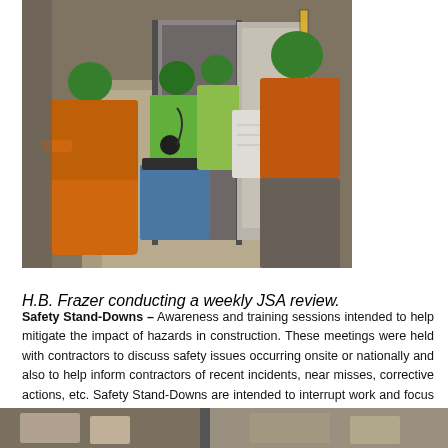[Figure (photo): Construction workers wearing orange safety vests and green hard hats gathered in a hallway, appearing to review documents. One person holds papers while others look on. A measuring tape or level is visible in the background.]
H.B. Frazer conducting a weekly JSA review.
Safety Stand-Downs – Awareness and training sessions intended to help mitigate the impact of hazards in construction. These meetings were held with contractors to discuss safety issues occurring onsite or nationally and also to help inform contractors of recent incidents, near misses, corrective actions, etc. Safety Stand-Downs are intended to interrupt work and focus worker attention on specific safety messages and information.
[Figure (photo): Partial view of another construction site photo at the bottom of the page, cropped.]